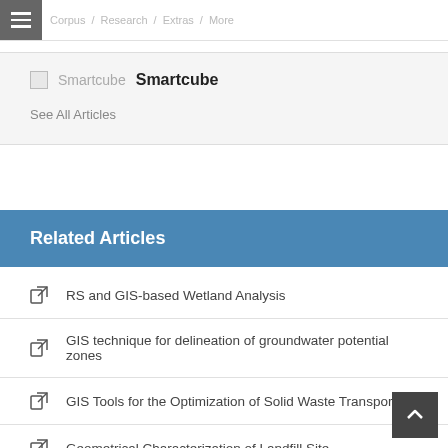Smartcube / Research / Extras / More
Smartcube  Smartcube
See All Articles
Related Articles
RS and GIS-based Wetland Analysis
GIS technique for delineation of groundwater potential zones
GIS Tools for the Optimization of Solid Waste Transport
Geometrical Characterization of Landfill Site